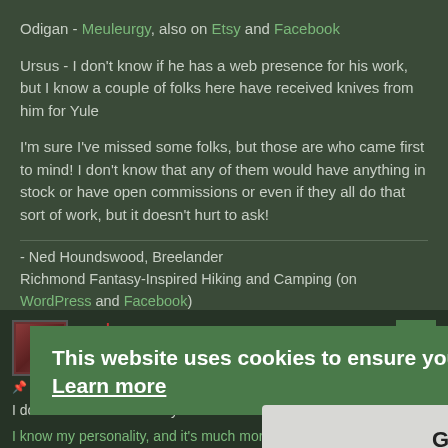Odigan - Meuleurgy, also on Etsy and Facebook
Ursus - I don't know if he has a web presence for his work, but I know a couple of folks here have received knives from him for Yule
I'm sure I've missed some folks, but those are who came first to mind! I don't know that any of them would have anything in stock or have open commissions or even if they all do that sort of work, but it doesn't hurt to ask!
- Ned Houndswood, Breelander
Richmond Fantasy-Inspired Hiking and Camping (on WordPress and Facebook)
caedean
Balku'nnÃ¢
Thu Jul 16, 2020 8:55 pm
I don't do custom work any more.
I know my personality, and it's much more important for me to get something right than to get it finished. And for some weird reason, most
This website uses cookies to ensure you get the best experience on our website. Learn more
Got it!